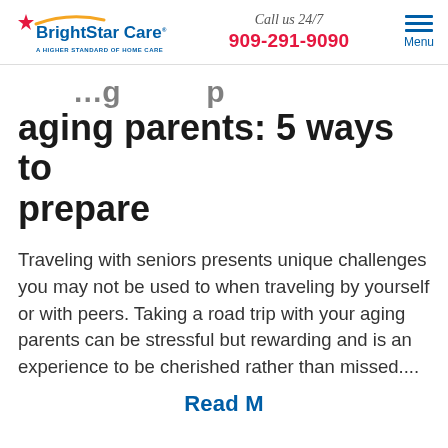BrightStar Care | A Higher Standard of Home Care | Call us 24/7 | 909-291-9090 | Menu
aging parents: 5 ways to prepare
Traveling with seniors presents unique challenges you may not be used to when traveling by yourself or with peers. Taking a road trip with your aging parents can be stressful but rewarding and is an experience to be cherished rather than missed....